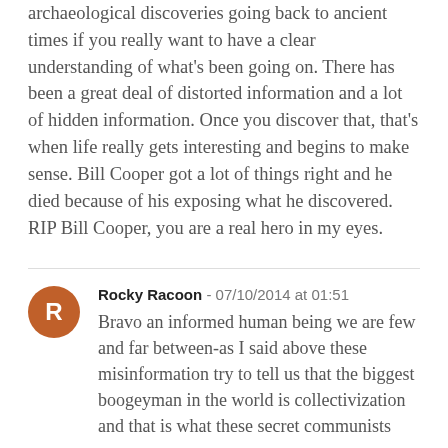archaeological discoveries going back to ancient times if you really want to have a clear understanding of what's been going on. There has been a great deal of distorted information and a lot of hidden information. Once you discover that, that's when life really gets interesting and begins to make sense. Bill Cooper got a lot of things right and he died because of his exposing what he discovered. RIP Bill Cooper, you are a real hero in my eyes.
Rocky Racoon - 07/10/2014 at 01:51
Bravo an informed human being we are few and far between-as I said above these misinformation try to tell us that the biggest boogeyman in the world is collectivization and that is what these secret communists